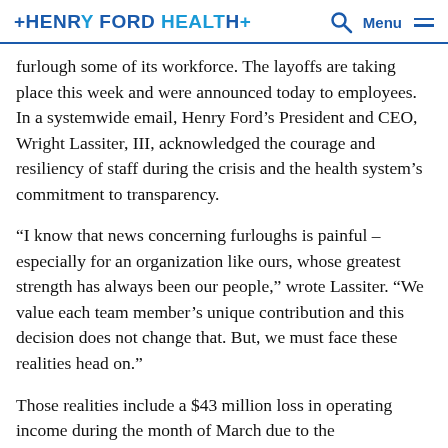HENRY FORD HEALTH  [search] Menu
furlough some of its workforce. The layoffs are taking place this week and were announced today to employees. In a systemwide email, Henry Ford's President and CEO, Wright Lassiter, III, acknowledged the courage and resiliency of staff during the crisis and the health system's commitment to transparency.
“I know that news concerning furloughs is painful – especially for an organization like ours, whose greatest strength has always been our people,” wrote Lassiter. “We value each team member’s unique contribution and this decision does not change that. But, we must face these realities head on.”
Those realities include a $43 million loss in operating income during the month of March due to the postponement or cancellation of services and procedures, temporary site closures, and an increased need for resources to care for